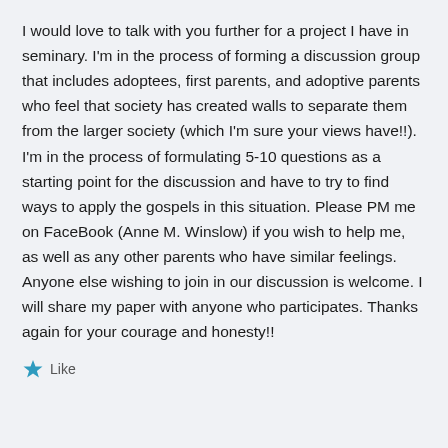I would love to talk with you further for a project I have in seminary. I'm in the process of forming a discussion group that includes adoptees, first parents, and adoptive parents who feel that society has created walls to separate them from the larger society (which I'm sure your views have!!). I'm in the process of formulating 5-10 questions as a starting point for the discussion and have to try to find ways to apply the gospels in this situation. Please PM me on FaceBook (Anne M. Winslow) if you wish to help me, as well as any other parents who have similar feelings. Anyone else wishing to join in our discussion is welcome. I will share my paper with anyone who participates. Thanks again for your courage and honesty!!
Like